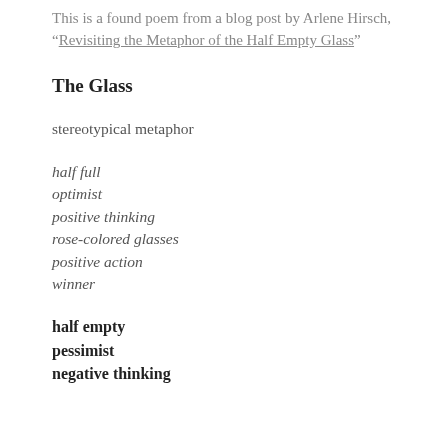This is a found poem from a blog post by Arlene Hirsch, “Revisiting the Metaphor of the Half Empty Glass”
The Glass
stereotypical metaphor
half full
optimist
positive thinking
rose-colored glasses
positive action
winner
half empty
pessimist
negative thinking